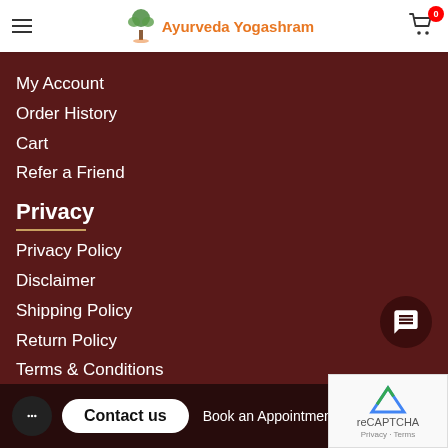Ayurveda Yogashram
My Account
Order History
Cart
Refer a Friend
Privacy
Privacy Policy
Disclaimer
Shipping Policy
Return Policy
Terms & Conditions
Contact us
Book an Appointment